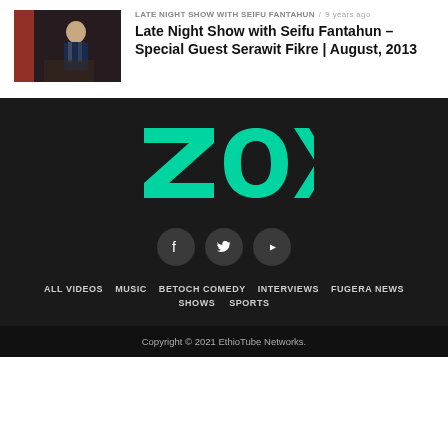[Figure (photo): Thumbnail image of a man in a suit on a TV show set with red accent background]
LATE NIGHT SHOW WITH SEIFU FANTAHUN / 9 years ago
Late Night Show with Seifu Fantahun – Special Guest Serawit Fikre | August, 2013
[Figure (logo): ZOX logo in bold green/teal lettering on dark background]
[Figure (other): Social media icons: Facebook, Twitter, YouTube — circular dark buttons]
ALL VIDEOS
MUSIC
BETOCH COMEDY
INTERVIEWS
FUGERA NEWS
SHOWS
SPORTS
Copyright © 2021 EthioTube Networks.